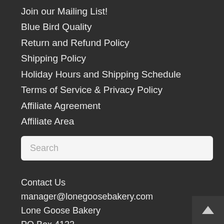Join our Mailing List!
Blue Bird Quality
Return and Refund Policy
Shipping Policy
Holiday Hours and Shipping Schedule
Terms of Service & Privacy Policy
Affiliate Agreement
Affiliate Area
Search
Contact Us
manager@lonegoosebakery.com
Lone Goose Bakery
PO Box 4122
Tulsa, OK 74159-0122